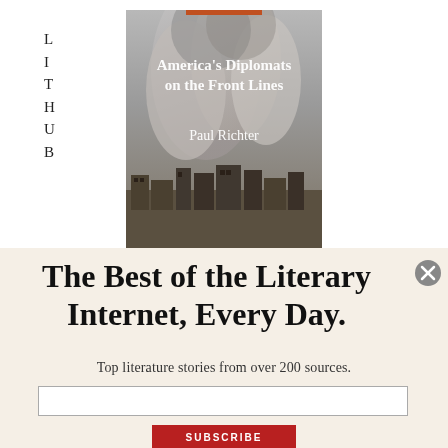LIT HUB
[Figure (illustration): Book cover of 'America's Diplomats on the Front Lines' by Paul Richter, showing a dramatic smoke-filled war scene with destroyed buildings, white text overlaid]
The Best of the Literary Internet, Every Day.
Top literature stories from over 200 sources.
SUBSCRIBE